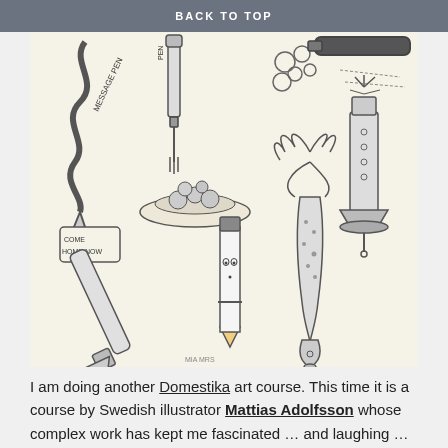BACK TO TOP
[Figure (illustration): Pencil sketch illustration showing various anthropomorphized pens and writing instruments: a 'message pen' shaped like a fish/eel with a note saying 'Come Home Now', a pen serving food on a plate with a fork, bubble-like circles, a pen character with a face (pencil-shaped), a vegetable/squid-like ink pen creature, a 'light pen' resembling a lighthouse or rocket, and other pen variations drawn in a whimsical style.]
I am doing another Domestika art course. This time it is a course by Swedish illustrator Mattias Adolfsson whose complex work has kept me fascinated … and laughing … for